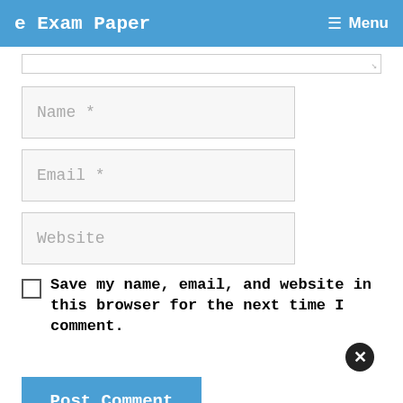e Exam Paper   Menu
[Figure (screenshot): Partial textarea with resize handle at bottom right]
[Figure (screenshot): Name * input field]
[Figure (screenshot): Email * input field]
[Figure (screenshot): Website input field]
Save my name, email, and website in this browser for the next time I comment.
[Figure (other): Close/X button circle]
Post Comment